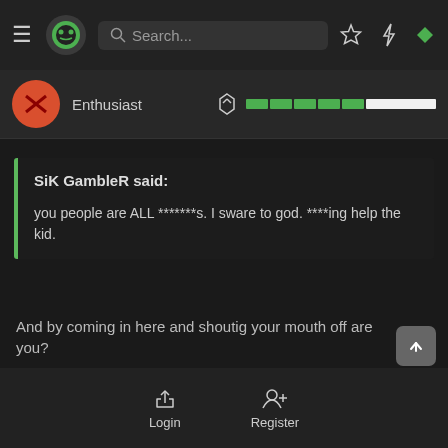Search...
Enthusiast
SiK GambleR said:
you people are ALL *******s. I sware to god. ****ing help the kid.
And by coming in here and shoutig your mouth off are you?
Oct 3, 2009  #10
Login   Register